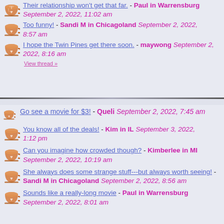Their relationship won't get that far. - Paul in Warrensburg September 2, 2022, 11:02 am
Too funny! - Sandi M in Chicagoland September 2, 2022, 8:57 am
I hope the Twin Pines get there soon. - maywong September 2, 2022, 8:16 am
View thread »
Go see a movie for $3! - Queli September 2, 2022, 7:45 am
You know all of the deals! - Kim in IL September 3, 2022, 1:12 pm
Can you imagine how crowded though? - Kimberlee in MI September 2, 2022, 10:19 am
She always does some strange stuff---but always worth seeing! - Sandi M in Chicagoland September 2, 2022, 8:56 am
Sounds like a really-long movie - Paul in Warrensburg September 2, 2022, 8:01 am